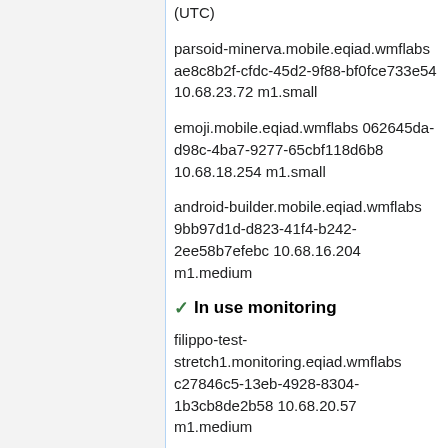(UTC)
parsoid-minerva.mobile.eqiad.wmflabs ae8c8b2f-cfdc-45d2-9f88-bf0fce733e54 10.68.23.72 m1.small
emoji.mobile.eqiad.wmflabs 062645da-d98c-4ba7-9277-65cbf118d6b8 10.68.18.254 m1.small
android-builder.mobile.eqiad.wmflabs 9bb97d1d-d823-41f4-b242-2ee58b7efebc 10.68.16.204 m1.medium
✓ In use monitoring
filippo-test-stretch1.monitoring.eqiad.wmflabs c27846c5-13eb-4928-8304-1b3cb8de2b58 10.68.20.57 m1.medium
filippo-test-jessie3.monitoring.eqiad.wmflabs 611db977-4d2a-4690-b48c-